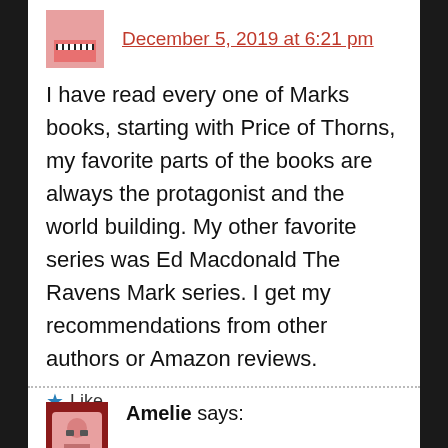December 5, 2019 at 6:21 pm
I have read every one of Marks books, starting with Price of Thorns, my favorite parts of the books are always the protagonist and the world building. My other favorite series was Ed Macdonald The Ravens Mark series. I get my recommendations from other authors or Amazon reviews.
★ Like
Reply
Amelie says: